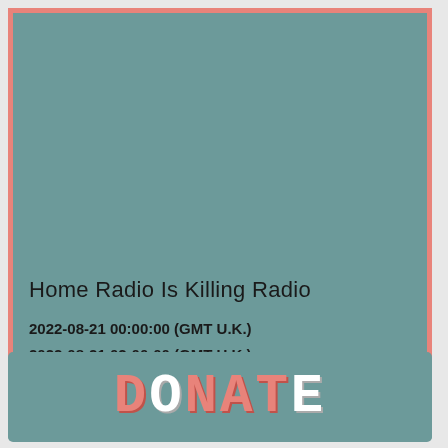[Figure (illustration): Top card with teal/muted green background, salmon/pink border, containing show information text at the bottom]
Home Radio Is Killing Radio
2022-08-21 00:00:00 (GMT U.K.)
2022-08-21 02:00:00 (GMT U.K.)
[Figure (illustration): Bottom section with teal background showing DONATE text in pixelated/retro style with pink and white letters]